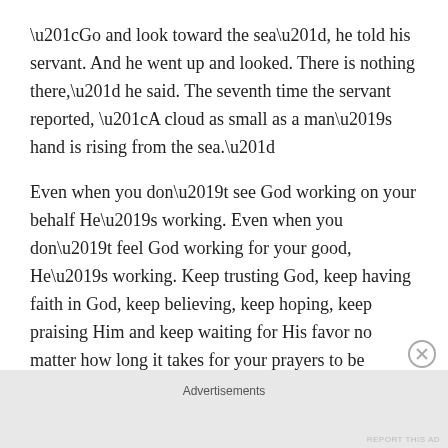“Go and look toward the sea”, he told his servant. And he went up and looked. There is nothing there,” he said. The seventh time the servant reported, “A cloud as small as a man’s hand is rising from the sea.”
Even when you don’t see God working on your behalf He’s working. Even when you don’t feel God working for your good, He’s working. Keep trusting God, keep having faith in God, keep believing, keep hoping, keep praising Him and keep waiting for His favor no matter how long it takes for your prayers to be answered. God sees you and He hears you so don’t you give up. Praise God while you wait on Him even if it takes seven times or seven
Advertisements